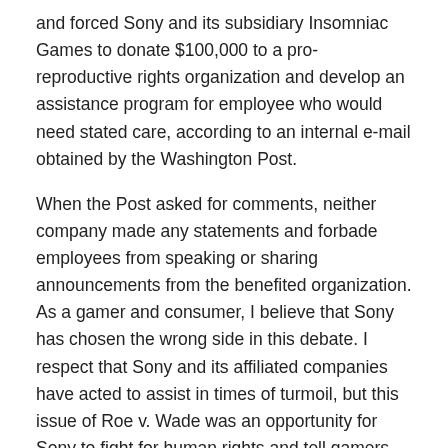and forced Sony and its subsidiary Insomniac Games to donate $100,000 to a pro-reproductive rights organization and develop an assistance program for employee who would need stated care, according to an internal e-mail obtained by the Washington Post.
When the Post asked for comments, neither company made any statements and forbade employees from speaking or sharing announcements from the benefited organization. As a gamer and consumer, I believe that Sony has chosen the wrong side in this debate. I respect that Sony and its affiliated companies have acted to assist in times of turmoil, but this issue of Roe v. Wade was an opportunity for Sony to fight for human rights and tell gamers that if women's health care rights diminish in the U.S., there will be NOTHING to stop concerned citizens TM from telling others in a democratic society how to live. That would result in taking away content in video games, what we could see and read in anime and manga and other media, and how to think on various issues.
I appointed a new SIE CEO Ted Price, claiming that SIE would...